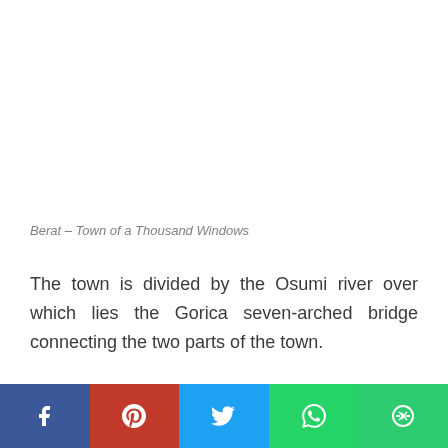Berat – Town of a Thousand Windows
The town is divided by the Osumi river over which lies the Gorica seven-arched bridge connecting the two parts of the town.
[Figure (other): Social media sharing bar with Facebook, Pinterest, Twitter, WhatsApp, and More buttons]